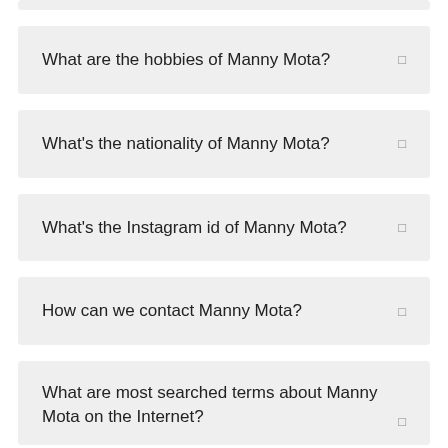What are the hobbies of Manny Mota?
What's the nationality of Manny Mota?
What's the Instagram id of Manny Mota?
How can we contact Manny Mota?
What are most searched terms about Manny Mota on the Internet?